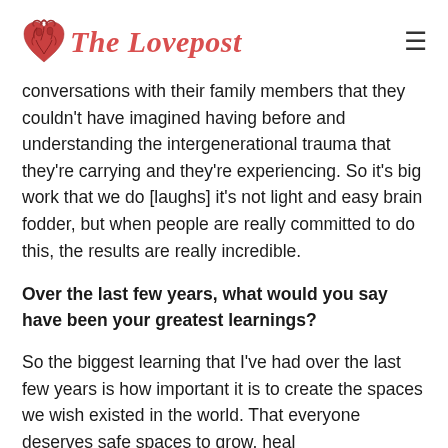The Lovepost
conversations with their family members that they couldn't have imagined having before and understanding the intergenerational trauma that they're carrying and they're experiencing. So it's big work that we do [laughs] it's not light and easy brain fodder, but when people are really committed to do this, the results are really incredible.
Over the last few years, what would you say have been your greatest learnings?
So the biggest learning that I've had over the last few years is how important it is to create the spaces we wish existed in the world. That everyone deserves safe spaces to grow, heal